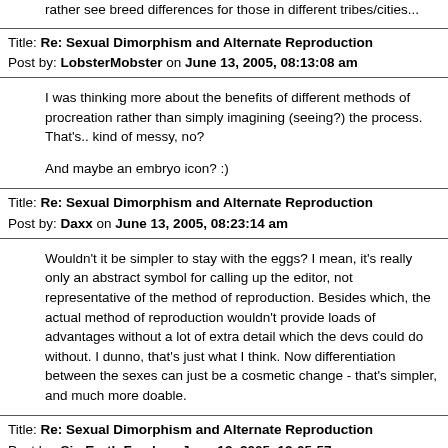rather see breed differences for those in different tribes/cities...
Title: Re: Sexual Dimorphism and Alternate Reproduction
Post by: LobsterMobster on June 13, 2005, 08:13:08 am
I was thinking more about the benefits of different methods of procreation rather than simply imagining (seeing?) the process.  That's.. kind of messy, no?

And maybe an embryo icon?  :)
Title: Re: Sexual Dimorphism and Alternate Reproduction
Post by: Daxx on June 13, 2005, 08:23:14 am
Wouldn't it be simpler to stay with the eggs? I mean, it's really only an abstract symbol for calling up the editor, not representative of the method of reproduction. Besides which, the actual method of reproduction wouldn't provide loads of advantages without a lot of extra detail which the devs could do without. I dunno, that's just what I think. Now differentiation between the sexes can just be a cosmetic change - that's simpler, and much more doable.
Title: Re: Sexual Dimorphism and Alternate Reproduction
Post by: SimEarth Freak on June 13, 2005, 12:05:57 pm